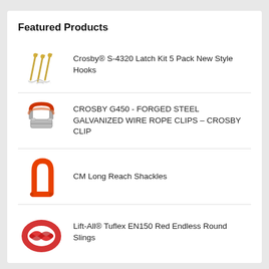Featured Products
Crosby® S-4320 Latch Kit 5 Pack New Style Hooks
CROSBY G450 - FORGED STEEL GALVANIZED WIRE ROPE CLIPS – CROSBY CLIP
CM Long Reach Shackles
Lift-All® Tuflex EN150 Red Endless Round Slings